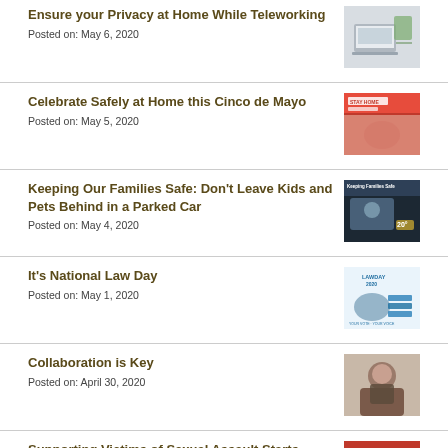Ensure your Privacy at Home While Teleworking
Posted on: May 6, 2020
[Figure (photo): Person working on laptop at home desk]
Celebrate Safely at Home this Cinco de Mayo
Posted on: May 5, 2020
[Figure (photo): Stay home Cinco de Mayo themed image with red and festive colors]
Keeping Our Families Safe: Don't Leave Kids and Pets Behind in a Parked Car
Posted on: May 4, 2020
[Figure (photo): Keeping Families Safe campaign image with child in car]
It's National Law Day
Posted on: May 1, 2020
[Figure (photo): Law Day 2020 Your Vote Your Voice of Democracy image]
Collaboration is Key
Posted on: April 30, 2020
[Figure (photo): Professional woman portrait photo]
Supporting Victims of Sexual Assault Starts